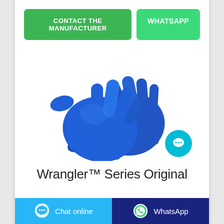CONTACT THE MANUFACTURER
WHATSAPP
[Figure (photo): Two blue nitrile/latex examination gloves overlapping on a white background]
Wrangler™ Series Original
Chat online
WhatsApp